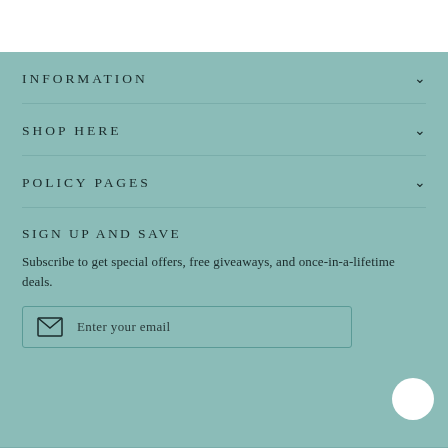INFORMATION
SHOP HERE
POLICY PAGES
SIGN UP AND SAVE
Subscribe to get special offers, free giveaways, and once-in-a-lifetime deals.
Enter your email